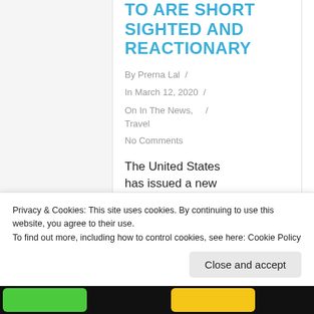TO ARE SHORT SIGHTED AND REACTIONARY
By Prerna Lal /
In March 12, 2020 /
On In The News, / Travel
No Comments
The United States has issued a new travel ban targeted at
Privacy & Cookies: This site uses cookies. By continuing to use this website, you agree to their use.
To find out more, including how to control cookies, see here: Cookie Policy